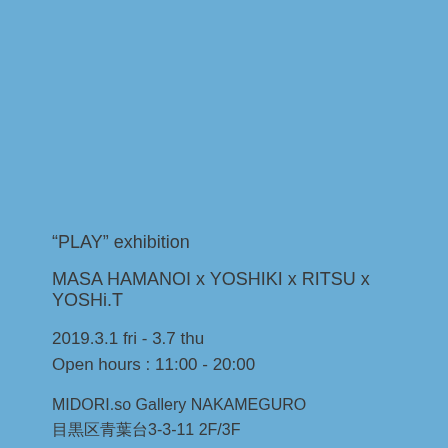“PLAY” exhibition
MASA HAMANOI x YOSHIKI x RITSU x YOSHi.T
2019.3.1 fri - 3.7 thu
Open hours : 11:00 - 20:00
MIDORI.so Gallery NAKAMEGURO
目黒区青葉台3-3-11 2F/3F
2F/3F 3-3-11 Aobadai, Meguro-ku, Tokyo
google map link